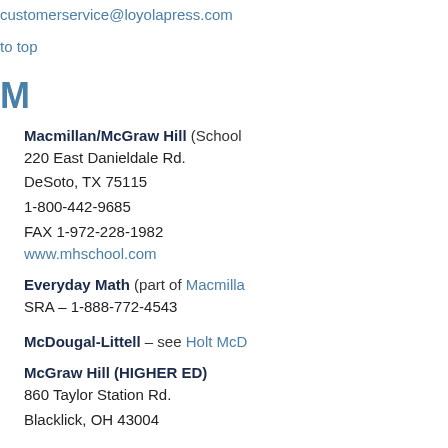customerservice@loyolapress.com
to top
M
Macmillan/McGraw Hill (School Division)
220 East Danieldale Rd.
DeSoto, TX 75115
1-800-442-9685
FAX 1-972-228-1982
www.mhschool.com
Everyday Math (part of Macmillan)
SRA – 1-888-772-4543
McDougal-Littell – see Holt McDougal
McGraw Hill (HIGHER ED)
860 Taylor Station Rd.
Blacklick, OH 43004